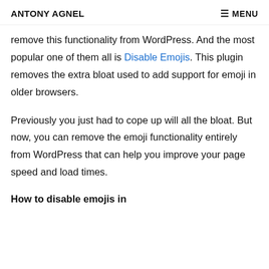ANTONY AGNEL   ≡ MENU
remove this functionality from WordPress. And the most popular one of them all is Disable Emojis. This plugin removes the extra bloat used to add support for emoji in older browsers.
Previously you just had to cope up will all the bloat. But now, you can remove the emoji functionality entirely from WordPress that can help you improve your page speed and load times.
How to disable emojis in